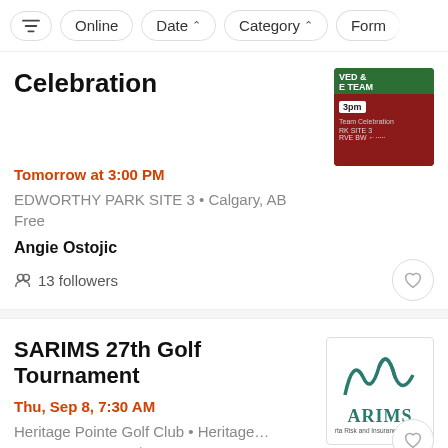Online  Date ▾  Category ▾  Form
Celebration
Tomorrow at 3:00 PM
EDWORTHY PARK SITE 3 • Calgary, AB
Free
Angie Ostojic
13 followers
[Figure (photo): Event thumbnail showing a barbecue team celebration flyer with green and dark red background, text VED & E TEAM, 3pm, RK SITE 3, RVE BW]
SARIMS 27th Golf Tournament
Thu, Sep 8, 7:30 AM
Heritage Pointe Golf Club • Heritage…
Starts at 64,67 CA$
[Figure (logo): SARIMS logo with teal mountain graphic and text Alberta Risk and Insurance Manage]